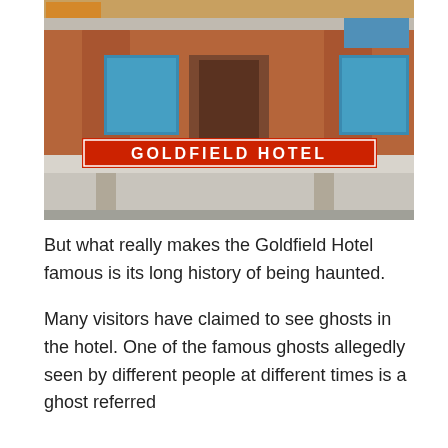[Figure (photo): Exterior photo of the Goldfield Hotel, a historic brick building with a prominent red sign reading 'GOLDFIELD HOTEL'. The facade shows brick columns, windows, and a covered porch area.]
But what really makes the Goldfield Hotel famous is its long history of being haunted.
Many visitors have claimed to see ghosts in the hotel. One of the famous ghosts allegedly seen by different people at different times is a ghost referred